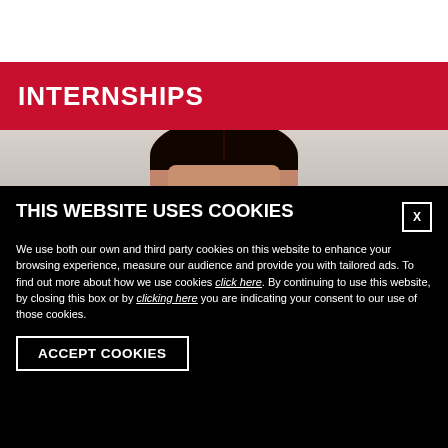[Figure (photo): White header bar at top of webpage]
INTERNSHIPS
[Figure (photo): Top portion of a person's head with dark hair against a light grey background]
THIS WEBSITE USES COOKIES
We use both our own and third party cookies on this website to enhance your browsing experience, measure our audience and provide you with tailored ads. To find out more about how we use cookies click here. By continuing to use this website, by closing this box or by clicking here you are indicating your consent to our use of those cookies.
ACCEPT COOKIES